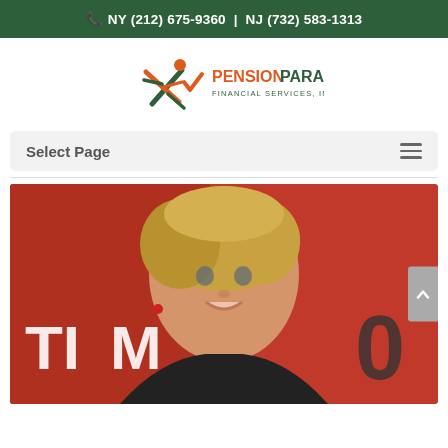NY (212) 675-9360 | NJ (732) 583-1313
[Figure (logo): Pension Parameters Financial Services, Inc. logo with stylized running figure in orange and dark green, company name in dark green and orange text]
Select Page
[Figure (photo): A woman with short blonde hair smiling, photographed against a red background with partial white text 'TIM' visible, appearing to be a TIME magazine event backdrop]